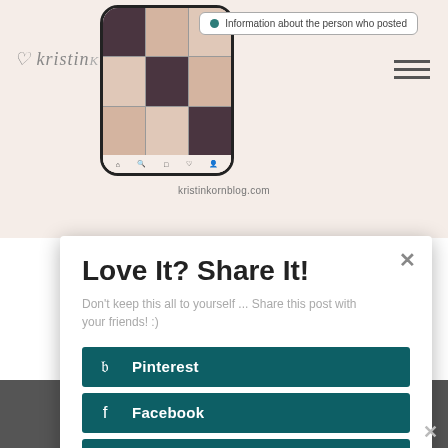[Figure (screenshot): Blog website screenshot showing phone mockup with Instagram-like grid, blog name in handwritten style, info bubble, and hamburger menu]
kristinkormblog.com
Love It? Share It!
Don't keep this all to yourself ... Share this post with your friends! :)
Pinterest
Facebook
Twitter
LinkedIn